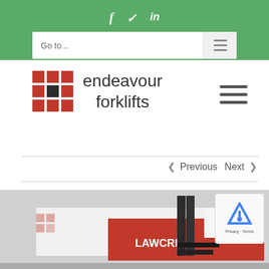f  ✓  in
Go to...
[Figure (logo): Endeavour Forklifts logo: red 3x3 grid with one black square, next to text 'endeavour forklifts']
< Previous   Next >
[Figure (photo): Partial photo of a forklift with LAWCRIS branding visible on a red vehicle]